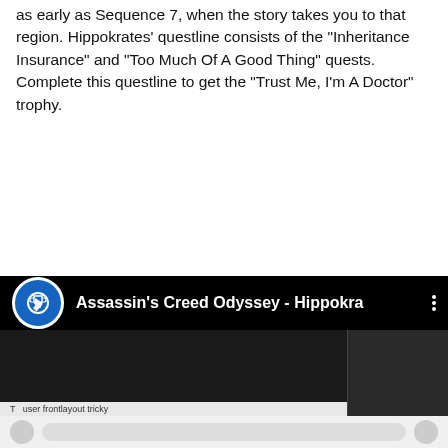as early as Sequence 7, when the story takes you to that region. Hippokrates' questline consists of the "Inheritance Insurance" and "Too Much Of A Good Thing" quests. Complete this questline to get the "Trust Me, I'm A Doctor" trophy.
[Figure (screenshot): YouTube video embed showing 'Assassin's Creed Odyssey - Hippokra' with a blue trophy icon on the left, video title in white text, three-dot menu on the right, and a dark thumbnail area below with a comment bar at the bottom.]